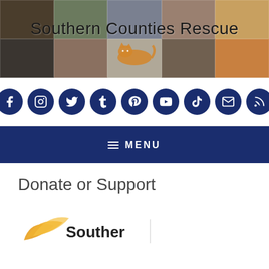[Figure (photo): Banner with collage of cat photos and 'Southern Counties Rescue' text overlay with a cat illustration]
[Figure (infographic): Row of 9 dark blue circular social media icons: Facebook, Instagram, Twitter, Tumblr, Pinterest, YouTube, TikTok, Email, RSS]
MENU
Donate or Support
[Figure (logo): Southern Counties Rescue logo - partial view showing bird/wing icon and partial text 'Souther...']